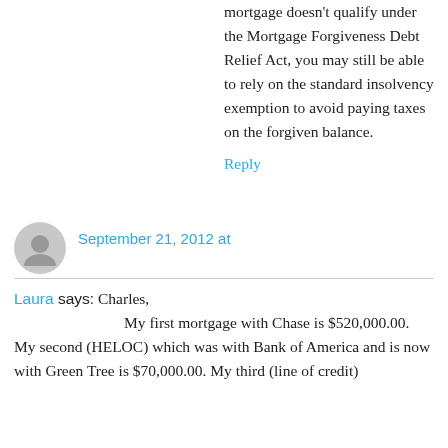mortgage doesn't qualify under the Mortgage Forgiveness Debt Relief Act, you may still be able to rely on the standard insolvency exemption to avoid paying taxes on the forgiven balance.
Reply
September 21, 2012 at
Laura says: Charles, My first mortgage with Chase is $520,000.00. My second (HELOC) which was with Bank of America and is now with Green Tree is $70,000.00. My third (line of credit)